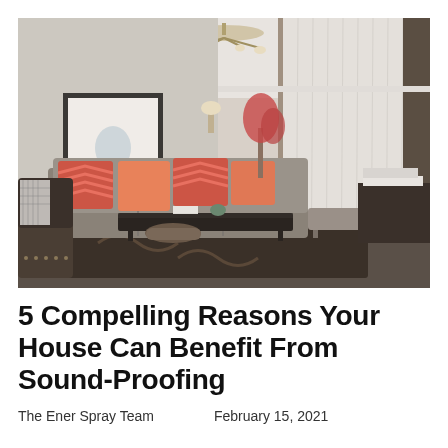[Figure (photo): Interior living room photo showing a sofa with red and orange chevron-patterned throw pillows, a dark wood coffee table, decorative rug with abstract pattern, a chandelier on the ceiling, sheer white curtains on large windows, a framed botanical art print on the wall, and a leather armchair in the foreground.]
5 Compelling Reasons Your House Can Benefit From Sound-Proofing
The Ener Spray Team     February 15, 2021